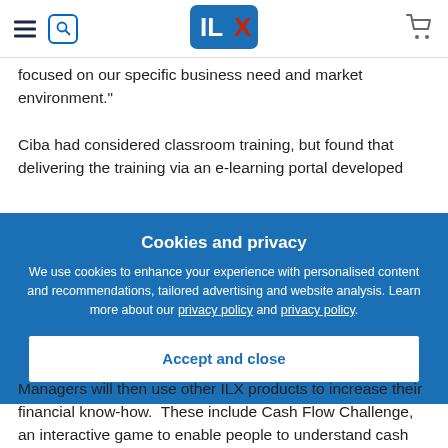ILX - navigation header with hamburger menu, search, logo, and cart
focused on our specific business need and market environment."
Ciba had considered classroom training, but found that delivering the training via an e-learning portal developed
Cookies and privacy
We use cookies to enhance your experience with personalised content and recommendations, tailored advertising and website analysis. Learn more about our privacy policy and privacy policy.
Accept and close
Managers will then use other ILX products to increase their financial know-how.  These include Cash Flow Challenge, an interactive game to enable people to understand cash